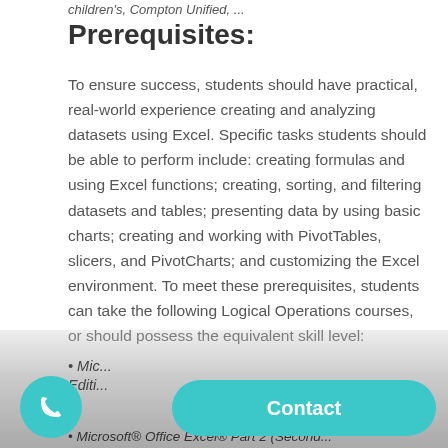Prerequisites:
To ensure success, students should have practical, real-world experience creating and analyzing datasets using Excel. Specific tasks students should be able to perform include: creating formulas and using Excel functions; creating, sorting, and filtering datasets and tables; presenting data by using basic charts; creating and working with PivotTables, slicers, and PivotCharts; and customizing the Excel environment. To meet these prerequisites, students can take the following Logical Operations courses, or should possess the equivalent skill level:
Microsoft® Office Excel® Part 1 (Second Edition)
Microsoft® Office Excel® Part 2 (Second Edition)